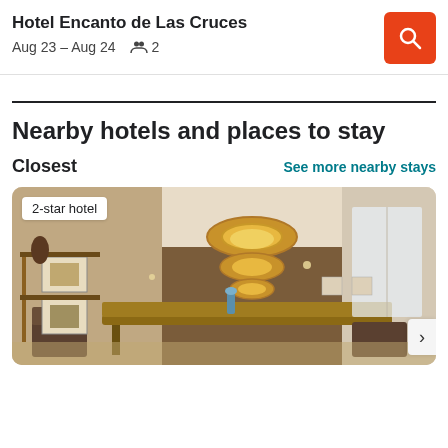Hotel Encanto de Las Cruces
Aug 23 – Aug 24    👥 2
Nearby hotels and places to stay
Closest
See more nearby stays
[Figure (photo): Hotel lobby/dining area interior photo showing long dining table, pendant lights, and windows. Badge reads '2-star hotel'.]